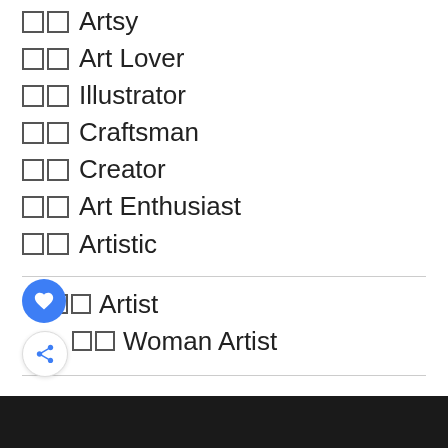□□ Artsy
□□ Art Lover
□□ Illustrator
□□ Craftsman
□□ Creator
□□ Art Enthusiast
□□ Artistic
□□ Artist
□□ Woman Artist